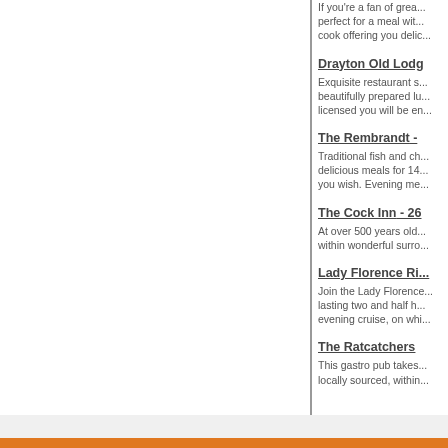If you're a fan of great food, this is the perfect for a meal with... cook offering you delicio...
Drayton Old Lodg...
Exquisite restaurant s... beautifully prepared lu... licensed you will be en...
The Rembrandt -
Traditional fish and ch... delicious meals for 14... you wish. Evening me...
The Cock Inn - 26
At over 500 years old... within wonderful surro...
Lady Florence Ri...
Join the Lady Florence... lasting two and half h... evening cruise, on whi...
The Ratcatchers
This gastro pub takes... locally sourced, within...